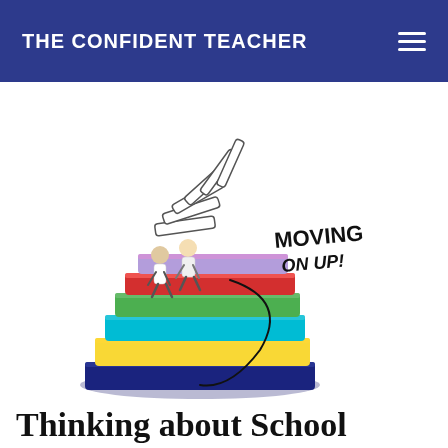THE CONFIDENT TEACHER
[Figure (illustration): Colorful illustration of stacked books forming a staircase with two children running up the steps, and the text 'Moving On Up!' curved above them. Books in colors including purple/navy, yellow, cyan, green, red, lavender, and white stack from bottom to top forming an arc.]
Thinking about School